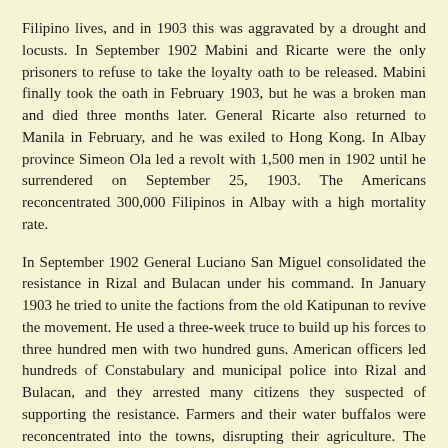Filipino lives, and in 1903 this was aggravated by a drought and locusts. In September 1902 Mabini and Ricarte were the only prisoners to refuse to take the loyalty oath to be released. Mabini finally took the oath in February 1903, but he was a broken man and died three months later. General Ricarte also returned to Manila in February, and he was exiled to Hong Kong. In Albay province Simeon Ola led a revolt with 1,500 men in 1902 until he surrendered on September 25, 1903. The Americans reconcentrated 300,000 Filipinos in Albay with a high mortality rate.
In September 1902 General Luciano San Miguel consolidated the resistance in Rizal and Bulacan under his command. In January 1903 he tried to unite the factions from the old Katipunan to revive the movement. He used a three-week truce to build up his forces to three hundred men with two hundred guns. American officers led hundreds of Constabulary and municipal police into Rizal and Bulacan, and they arrested many citizens they suspected of supporting the resistance. Farmers and their water buffalos were reconcentrated into the towns, disrupting their agriculture. The Amigo Act was passed because so many Filipinos were allowing the guerrillas to hide among the people. The Constabulary found San Miguel's headquarters. After three attacks on his two hundred men, San Miguel was killed on March 28, 1903. New leaders scattered to different areas, and Faustino Guillermo was captured and publicly executed in May 1904.